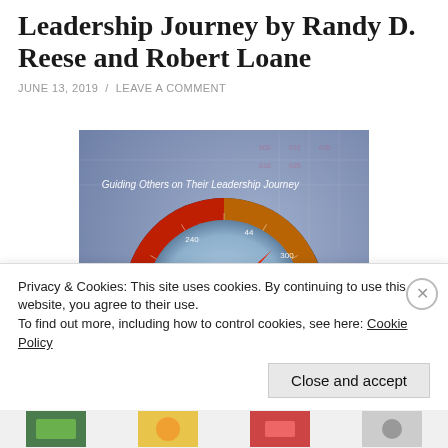Leadership Journey by Randy D. Reese and Robert Loane
JUNE 13, 2019 / LEAVE A COMMENT
[Figure (photo): Book cover image showing a colorful compass (showing directions S, W, N) on a blue background with the subtitle 'Guiding Others on Their Leadership Journey' in italic white text.]
Privacy & Cookies: This site uses cookies. By continuing to use this website, you agree to their use.
To find out more, including how to control cookies, see here: Cookie Policy